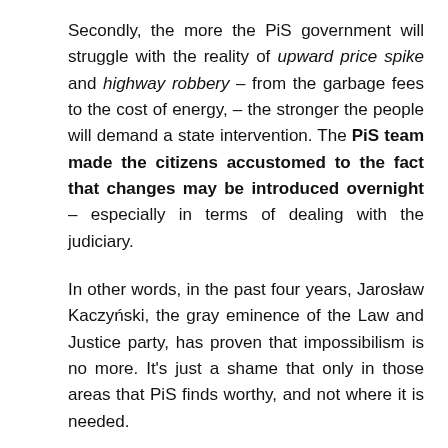Secondly, the more the PiS government will struggle with the reality of upward price spike and highway robbery – from the garbage fees to the cost of energy, – the stronger the people will demand a state intervention. The PiS team made the citizens accustomed to the fact that changes may be introduced overnight – especially in terms of dealing with the judiciary.
In other words, in the past four years, Jarosław Kaczyński, the gray eminence of the Law and Justice party, has proven that impossibilism is no more. It's just a shame that only in those areas that PiS finds worthy, and not where it is needed.
This is why the people are aware that if only the ruling party wanted, it could easily stop the increase in energy prices and reduce the excise duty on alcohol. This is why the reality will soon knock on Jarosław Kaczyński's door so that he could stop the galloping prices of basic services, which